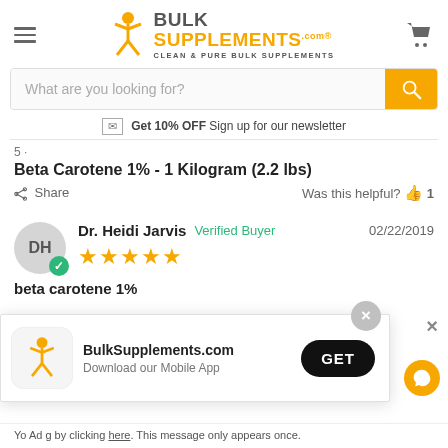BulkSupplements.com — Clean & Pure Bulk Supplements
What are you looking for?
Get 10% OFF Sign up for our newsletter
Beta Carotene 1% - 1 Kilogram (2.2 lbs)
Share   Was this helpful?  1
Dr. Heidi Jarvis  Verified Buyer  02/22/2019  ★★★★★
[Figure (screenshot): BulkSupplements.com app download popup with orange stickman logo, GET button, and close X]
BulkSupplements.com  Download our Mobile App  GET
by clicking here. This message only appears once.